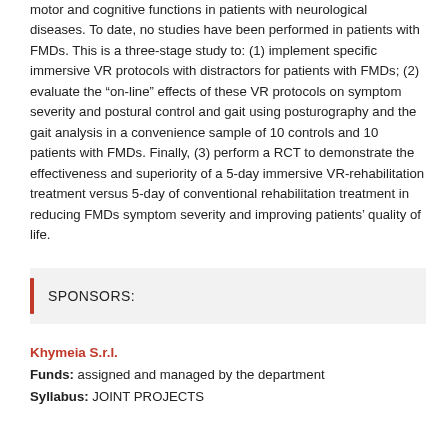motor and cognitive functions in patients with neurological diseases. To date, no studies have been performed in patients with FMDs. This is a three-stage study to: (1) implement specific immersive VR protocols with distractors for patients with FMDs; (2) evaluate the “on-line” effects of these VR protocols on symptom severity and postural control and gait using posturography and the gait analysis in a convenience sample of 10 controls and 10 patients with FMDs. Finally, (3) perform a RCT to demonstrate the effectiveness and superiority of a 5-day immersive VR-rehabilitation treatment versus 5-day of conventional rehabilitation treatment in reducing FMDs symptom severity and improving patients’ quality of life.
SPONSORS:
Khymeia S.r.l.
Funds: assigned and managed by the department
Syllabus: JOINT PROJECTS